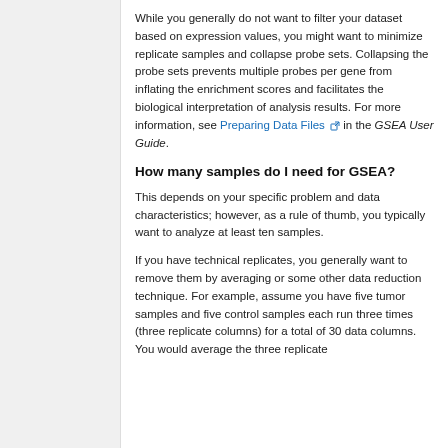While you generally do not want to filter your dataset based on expression values, you might want to minimize replicate samples and collapse probe sets. Collapsing the probe sets prevents multiple probes per gene from inflating the enrichment scores and facilitates the biological interpretation of analysis results. For more information, see Preparing Data Files in the GSEA User Guide.
How many samples do I need for GSEA?
This depends on your specific problem and data characteristics; however, as a rule of thumb, you typically want to analyze at least ten samples.
If you have technical replicates, you generally want to remove them by averaging or some other data reduction technique. For example, assume you have five tumor samples and five control samples each run three times (three replicate columns) for a total of 30 data columns. You would average the three replicate